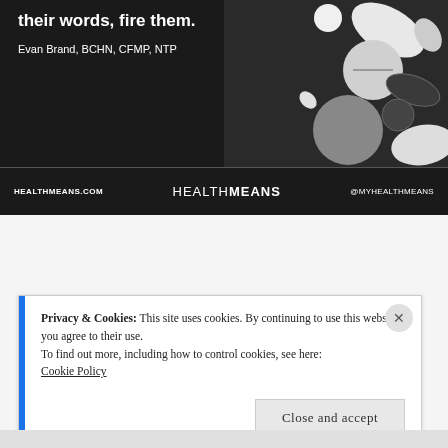[Figure (photo): Black and white photo of various pills and tablets scattered on a dark surface, with bold white text overlay quoting Evan Brand about firing doctors who dismiss patients with their words. Footer shows HealthMeans branding.]
Privacy & Cookies: This site uses cookies. By continuing to use this website, you agree to their use.
To find out more, including how to control cookies, see here:
Cookie Policy
Close and accept